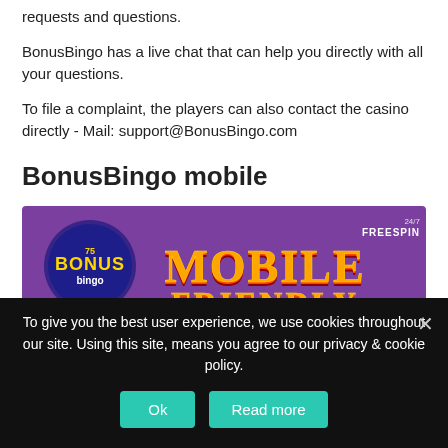requests and questions.
BonusBingo has a live chat that can help you directly with all your questions.
To file a complaint, the players can also contact the casino directly - Mail: support@BonusBingo.com
BonusBingo mobile
[Figure (illustration): Purple banner with BonusBingo logo on the left and large orange/yellow text reading 'MOBILE FRIENDLY'. FreeSpin logo with 24/7 text in the top right corner.]
It is becoming increasingly popular to play casino in the mobile phone and BonusBingo obviously hooks on that trend.
To give you the best user experience, we use cookies throughout our site. Using this site, means you agree to our privacy & cookie policy.